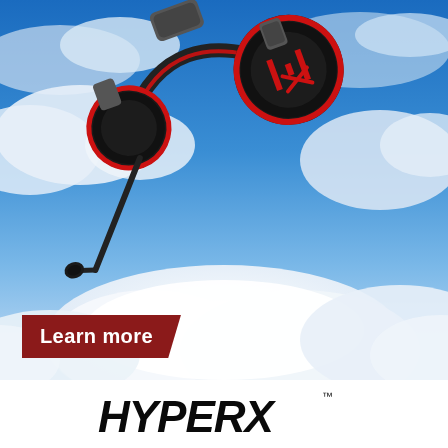[Figure (photo): HyperX Cloud II wireless gaming headset (black and red) floating among clouds against a blue sky background. The headset features the HyperX logo on the ear cup and a detachable microphone.]
Learn more
[Figure (logo): HyperX brand logo in black italic stylized text with TM mark]